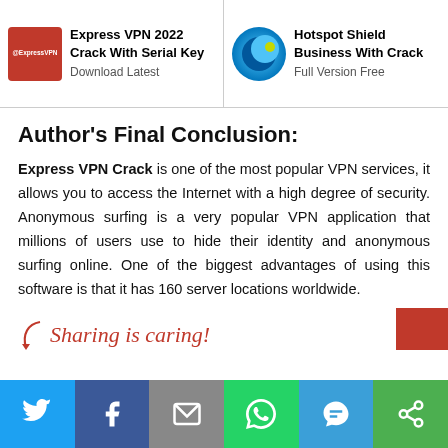Express VPN 2022 Crack With Serial Key Download Latest | Hotspot Shield Business With Crack Full Version Free
Author's Final Conclusion:
Express VPN Crack is one of the most popular VPN services, it allows you to access the Internet with a high degree of security. Anonymous surfing is a very popular VPN application that millions of users use to hide their identity and anonymous surfing online. One of the biggest advantages of using this software is that it has 160 server locations worldwide.
Sharing is caring!
Share on Twitter | Share on Facebook | Share by Email | Share on WhatsApp | Share by SMS | Copy Link